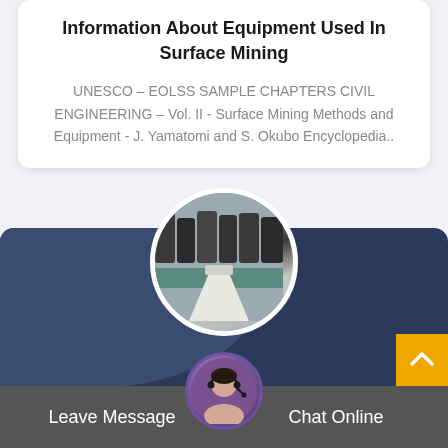Information About Equipment Used In Surface Mining
UNESCO – EOLSS SAMPLE CHAPTERS CIVIL ENGINEERING – Vol. II - Surface Mining Methods and Equipment - J. Yamatomi and S. Okubo Encyclopedia..
[Figure (photo): Circular photo of surface mining equipment – cone crusher and industrial machinery in a factory/yard setting]
[Figure (photo): Customer service avatar – woman with headset]
Leave Message
Chat Online